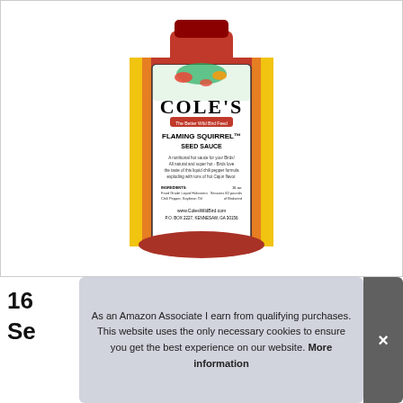[Figure (photo): A bottle of Cole's Flaming Squirrel Seed Sauce — a hot sauce for birds. The label shows 'COLE'S' in large letters, 'The Better Wild Bird Feed' tagline, 'FLAMING SQUIRREL SEED SAUCE', description text about nutritional hot sauce for birds with liquid chili pepper formula and Cajun flavor, ingredients (Food Grade Liquid Habanero, Chili Pepper, Soybean Oil), 16 oz, Seasons 60 pounds of birdseed, www.ColesWildBird.com, P.O. BOX 2227, KENNESAW, GA 30156. Bottle is red/orange with colorful peppers and a squirrel at the top.]
16
Se
As an Amazon Associate I earn from qualifying purchases. This website uses the only necessary cookies to ensure you get the best experience on our website. More information